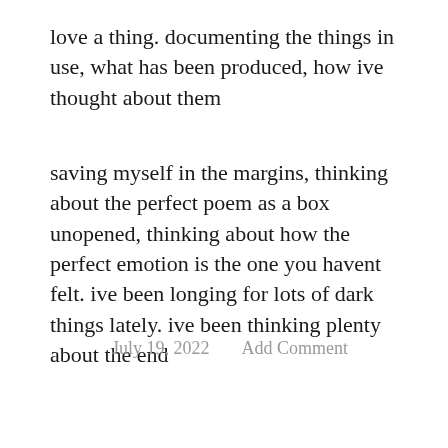love a thing. documenting the things in use, what has been produced, how ive thought about them
saving myself in the margins, thinking about the perfect poem as a box unopened, thinking about how the perfect emotion is the one you havent felt. ive been longing for lots of dark things lately. ive been thinking plenty about the end
July 19, 2022    Add Comment